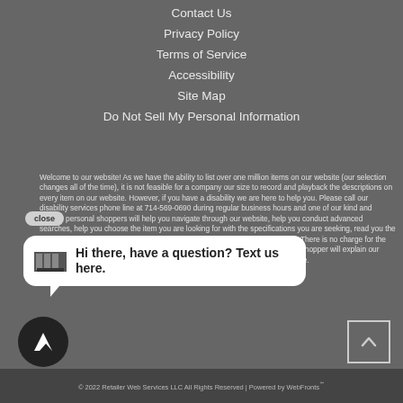Contact Us
Privacy Policy
Terms of Service
Accessibility
Site Map
Do Not Sell My Personal Information
Welcome to our website! As we have the ability to list over one million items on our website (our selection changes all of the time), it is not feasible for a company our size to record and playback the descriptions on every item on our website. However, if you have a disability we are here to help you. Please call our disability services phone line at 714-569-0690 during regular business hours and one of our kind and friendly personal shoppers will help you navigate through our website, help you conduct advanced searches, help you choose the item you are looking for with the specifications you are seeking, read you the specifications of any item and consult with you about the products themselves. There is no charge for the help of this personal shopper for anyone with a disability. Finally, your personal shopper will explain our Privacy Policy and Terms of Service, and help you place an order if you so desire.
[Figure (screenshot): Close button and chat bubble overlay: 'Hi there, have a question? Text us here.' with a small furniture icon]
© 2022 Retailer Web Services LLC All Rights Reserved | Powered by WebFronts℠